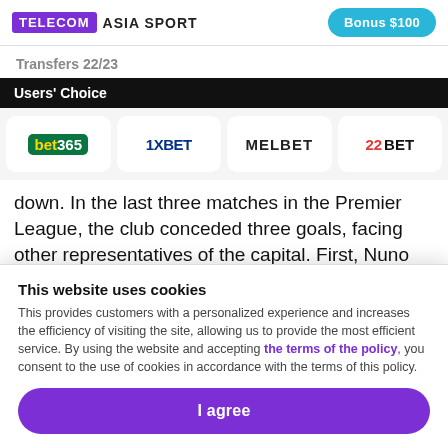TELECOM ASIA SPORT | Bonus $100
Transfers 22/23
Users' Choice
[Figure (logo): Four betting brand logos: bet365, 1XBET, MELBET, 22BET]
down. In the last three matches in the Premier League, the club conceded three goals, facing other representatives of the capital. First, Nuno Espírito Santo's team suffered a devastating away defeat at the hands of Crystal Palace. Then, Tottenham failed to compete with Chelsea at home
This website uses cookies
This provides customers with a personalized experience and increases the efficiency of visiting the site, allowing us to provide the most efficient service. By using the website and accepting the terms of the policy, you consent to the use of cookies in accordance with the terms of this policy.
I agree